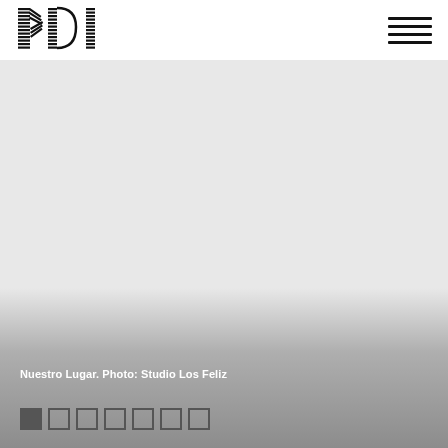[Figure (logo): KDI logo — stylized letters K, D, I with horizontal line texture in black]
[Figure (illustration): Hamburger menu icon with 4 horizontal black lines]
[Figure (photo): Large photo of Nuestro Lugar interior — light gray background, with gradient overlay fading to gray at bottom]
Nuestro Lugar. Photo: Studio Los Feliz
[Figure (other): Pagination indicator with 7 squares, first one filled/active, rest outlined]